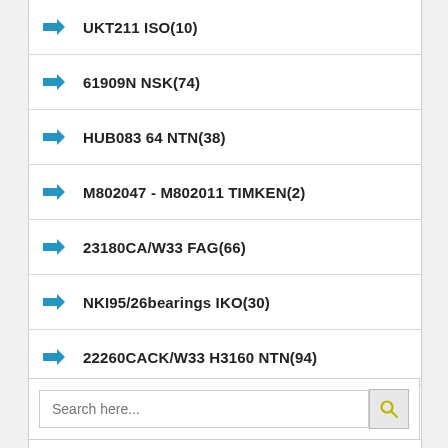UKT211 ISO(10)
61909N NSK(74)
HUB083 64 NTN(38)
M802047 - M802011 TIMKEN(2)
23180CA/W33 FAG(66)
NKI95/26bearings IKO(30)
22260CACK/W33 H3160 NTN(94)
K50x58x25 SKF(58)
RNA49/22bearings INA(22)